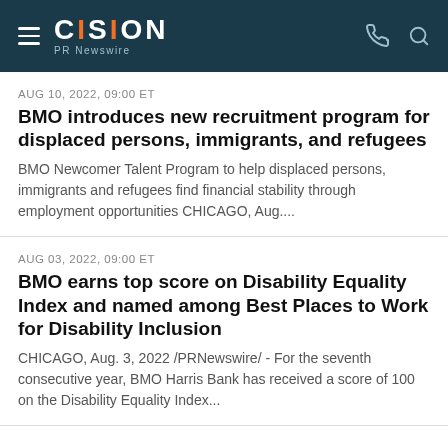CISION PR Newswire
AUG 10, 2022, 09:00 ET
BMO introduces new recruitment program for displaced persons, immigrants, and refugees
BMO Newcomer Talent Program to help displaced persons, immigrants and refugees find financial stability through employment opportunities CHICAGO, Aug....
AUG 03, 2022, 09:00 ET
BMO earns top score on Disability Equality Index and named among Best Places to Work for Disability Inclusion
CHICAGO, Aug. 3, 2022 /PRNewswire/ - For the seventh consecutive year, BMO Harris Bank has received a score of 100 on the Disability Equality Index...